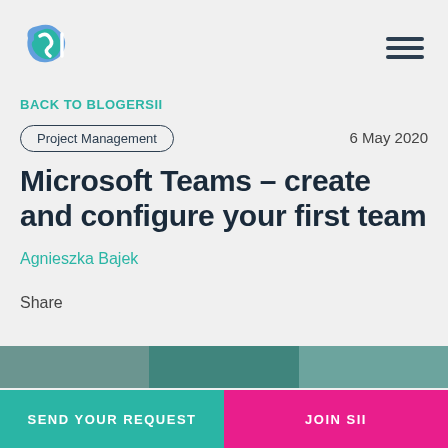[Figure (logo): SII company logo - blue and teal stylized letters]
BACK TO BLOGERSII
Project Management
6 May 2020
Microsoft Teams – create and configure your first team
Agnieszka Bajek
Share
[Figure (photo): Strip of photos at the bottom of the article]
SEND YOUR REQUEST
JOIN SII